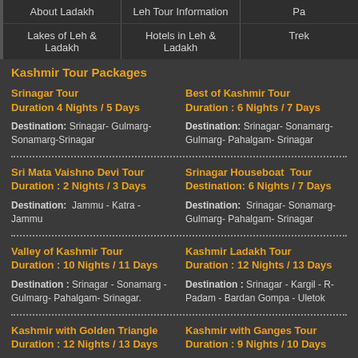About Ladakh | Leh Tour Information | Pa...
Lakes of Leh & Ladakh | Hotels in Leh & Ladakh | Trek...
Kashmir Tour Packages
Srinagar Tour
Duration 4 Nights / 5 Days
Destination: Srinagar- Gulmarg- Sonamarg-Srinagar
Best of Kashmir Tour
Duration : 6 Nights / 7 Days
Destination: Srinagar- Sonamarg- Gulmarg- Pahalgam- Srinagar
Sri Mata Vaishno Devi Tour
Duration : 2 Nights / 3 Days
Destination: Jammu - Katra - Jammu
Srinagar Houseboat Tour
Destination: 6 Nights / 7 Days
Destination: Srinagar- Sonamarg- Gulmarg- Pahalgam- Srinagar
Valley of Kashmir Tour
Duration : 10 Nights / 11 Days
Destination : Srinagar - Sonamarg - Gulmarg- Pahalgam- Srinagar.
Kashmir Ladakh Tour
Duration : 12 Nights / 13 Days
Destination : Srinagar - Kargil - R... - Padam - Bardan Gompa - Uletok...
Kashmir with Golden Triangle
Duration : 12 Nights / 13 Days
Kashmir with Ganges Tour
Duration : 9 Nights / 10 Days